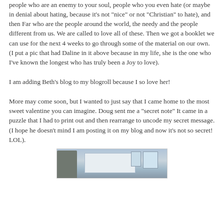people who are an enemy to your soul, people who you even hate (or maybe in denial about hating, because it's not "nice" or not "Christian" to hate), and then Far who are the people around the world, the needy and the people different from us. We are called to love all of these. Then we got a booklet we can use for the next 4 weeks to go through some of the material on our own. (I put a pic that had Daline in it above because in my life, she is the one who I've known the longest who has truly been a Joy to love).
I am adding Beth's blog to my blogroll because I so love her!
More may come soon, but I wanted to just say that I came home to the most sweet valentine you can imagine. Doug sent me a "secret note" It came in a puzzle that I had to print out and then rearrange to uncode my secret message. (I hope he doesn't mind I am posting it on my blog and now it's not so secret! LOL).
[Figure (photo): A partial photo showing what appears to be an interior room with a projection screen or whiteboard visible, and architectural elements including windows and a dark structural element on the left.]